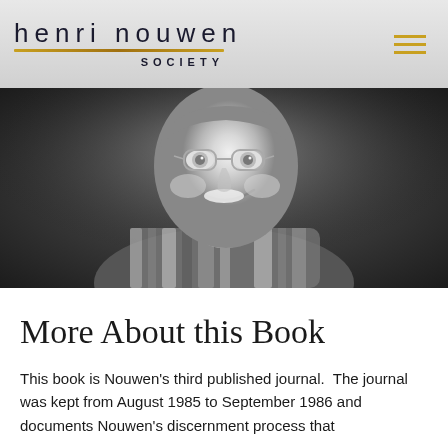henri nouwen SOCIETY
[Figure (photo): Black and white photograph of an older person smiling warmly, wearing glasses and a patterned scarf, photographed from the shoulders up against a dark background.]
More About this Book
This book is Nouwen's third published journal.  The journal was kept from August 1985 to September 1986 and documents Nouwen's discernment process that